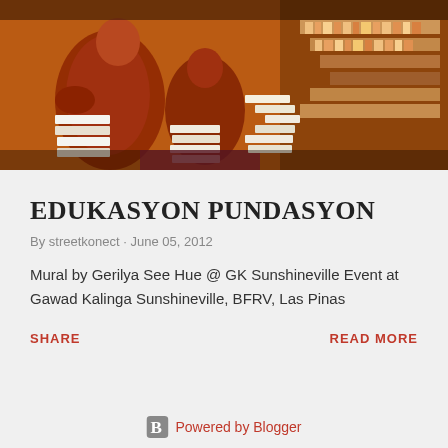[Figure (illustration): Colorful mural artwork showing figures carrying and surrounded by stacks of books, rendered in warm orange, red, and brown tones. Mural by Gerilya See Hue.]
EDUKASYON PUNDASYON
By streetkonect · June 05, 2012
Mural by Gerilya See Hue @ GK Sunshineville Event at Gawad Kalinga Sunshineville, BFRV, Las Pinas
SHARE
READ MORE
Powered by Blogger